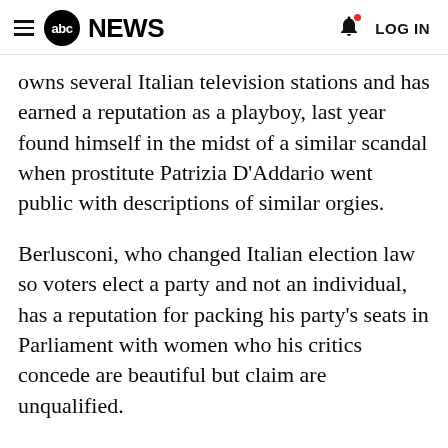abc NEWS | LOG IN
owns several Italian television stations and has earned a reputation as a playboy, last year found himself in the midst of a similar scandal when prostitute Patrizia D'Addario went public with descriptions of similar orgies.
Berlusconi, who changed Italian election law so voters elect a party and not an individual, has a reputation for packing his party's seats in Parliament with women who his critics concede are beautiful but claim are unqualified.